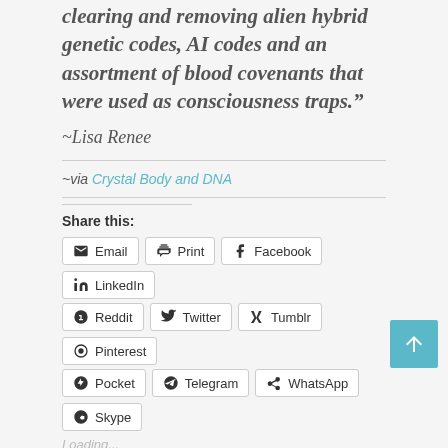clearing and removing alien hybrid genetic codes, AI codes and an assortment of blood covenants that were used as consciousness traps."
~Lisa Renee
~via Crystal Body and DNA
Share this:
Email | Print | Facebook | LinkedIn | Reddit | Twitter | Tumblr | Pinterest | Pocket | Telegram | WhatsApp | Skype
Loading...